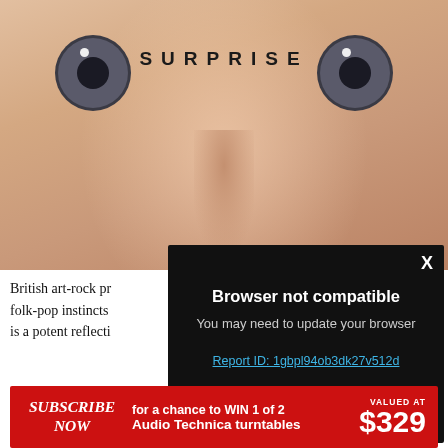[Figure (photo): Close-up of a baby's face with wide grey eyes and the word SURPRISE in bold letterspaced capitals overlaid in the center-top area]
British art-rock pro folk-pop instincts is a potent reflecti
Browser not compatible
You may need to update your browser
Report ID: 1gbpl94ob3dk27v512d
SUBSCRIBE NOW for a chance to WIN 1 of 2 Audio Technica turntables VALUED AT $329